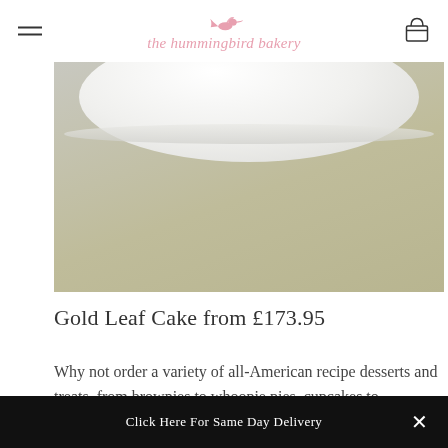the hummingbird bakery
[Figure (photo): Top-down view of a white cake plate/stand on a warm olive-cream background surface, partially cropped]
Gold Leaf Cake from £173.95
Why not order a variety of all-American recipe desserts and treats, from brownies to whoopie pies, cupcakes to cheesecakes? Goodies guaranteed to bring any wedding
Click Here For Same Day Delivery